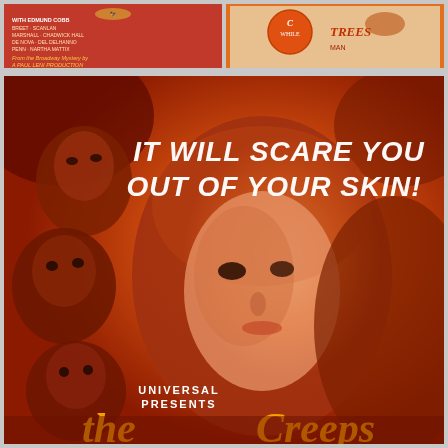[Figure (photo): Small red movie poster (left): Cast names visible including Edmund Cobb, with text about Broadway Mystery, A Paul Leni Production]
[Figure (photo): Small partial movie poster (right): Partially visible poster with circular logo and text including 'WHILE' and 'TREES']
[Figure (photo): Large orange-toned horror movie poster: 'IT WILL SCARE YOU OUT OF YOUR SKIN!' text at top, woman's face centered, multiple frightened faces on left side, 'UNIVERSAL PRESENTS The Creeps' text at bottom]